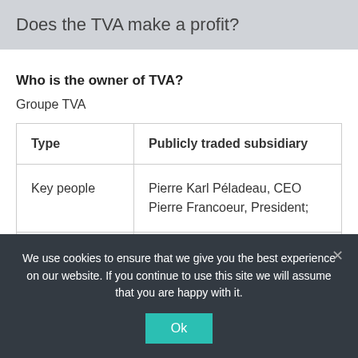Does the TVA make a profit?
Who is the owner of TVA?
Groupe TVA
| Type | Publicly traded subsidiary |
| --- | --- |
| Key people | Pierre Karl Péladeau, CEO Pierre Francoeur, President; |
| Products | Broadcasting Magazines Films |
We use cookies to ensure that we give you the best experience on our website. If you continue to use this site we will assume that you are happy with it.